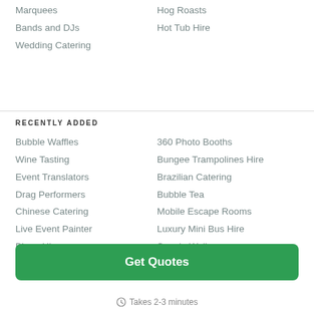Marquees
Hog Roasts
Bands and DJs
Hot Tub Hire
Wedding Catering
RECENTLY ADDED
Bubble Waffles
360 Photo Booths
Wine Tasting
Bungee Trampolines Hire
Event Translators
Brazilian Catering
Drag Performers
Bubble Tea
Chinese Catering
Mobile Escape Rooms
Live Event Painter
Luxury Mini Bus Hire
Bingo Hire
Sequin Walls
Classical Guitarist
Get Quotes
Takes 2-3 minutes